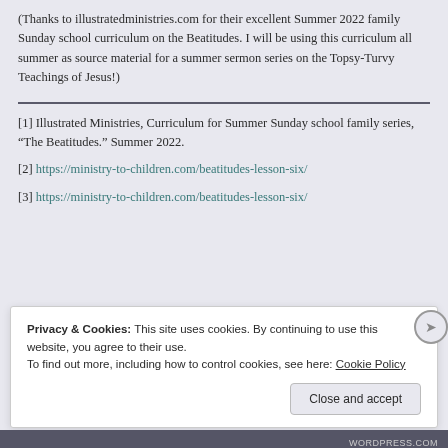(Thanks to illustratedministries.com for their excellent Summer 2022 family Sunday school curriculum on the Beatitudes. I will be using this curriculum all summer as source material for a summer sermon series on the Topsy-Turvy Teachings of Jesus!)
[1] Illustrated Ministries, Curriculum for Summer Sunday school family series, “The Beatitudes.” Summer 2022.
[2] https://ministry-to-children.com/beatitudes-lesson-six/
[3] https://ministry-to-children.com/beatitudes-lesson-six/
Privacy & Cookies: This site uses cookies. By continuing to use this website, you agree to their use. To find out more, including how to control cookies, see here: Cookie Policy